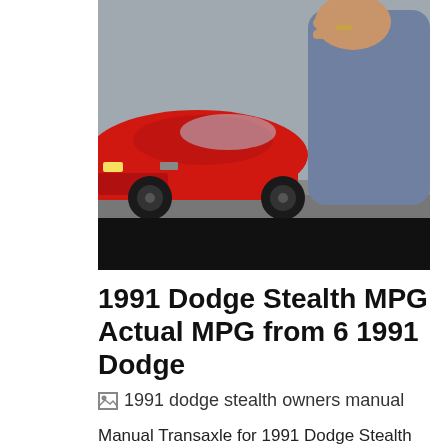[Figure (photo): Photo of a red sports car (front/side view) with a person in denim jacket pointing at it, against a gray background. A black bar is at the bottom of the image.]
1991 Dodge Stealth MPG Actual MPG from 6 1991 Dodge
[Figure (photo): Broken/missing image placeholder labeled '1991 dodge stealth owners manual']
Manual Transaxle for 1991 Dodge Stealth MyMoparParts. 1991 Dodge Stealth Service Repair Manuals for factory, & Haynes service workshop repair manuals. 1991 Dodge Stealth